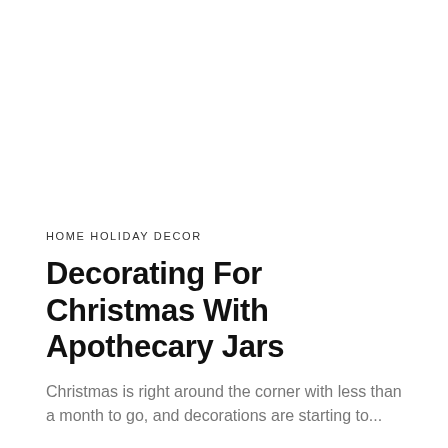HOME HOLIDAY DECOR
Decorating For Christmas With Apothecary Jars
Christmas is right around the corner with less than a month to go, and decorations are starting to...